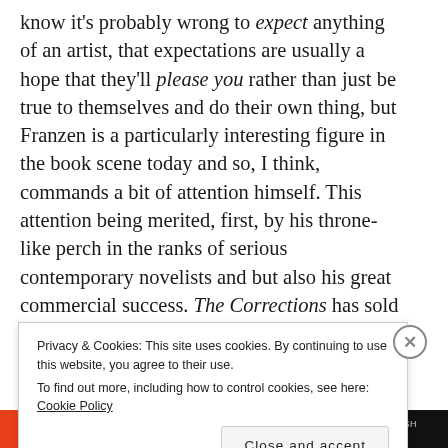know it's probably wrong to expect anything of an artist, that expectations are usually a hope that they'll please you rather than just be true to themselves and do their own thing, but Franzen is a particularly interesting figure in the book scene today and so, I think, commands a bit of attention himself. This attention being merited, first, by his throne-like perch in the ranks of serious contemporary novelists and but also his great commercial success. The Corrections has sold over three million copies and Freedom probably the same.
Privacy & Cookies: This site uses cookies. By continuing to use this website, you agree to their use. To find out more, including how to control cookies, see here: Cookie Policy
Close and accept